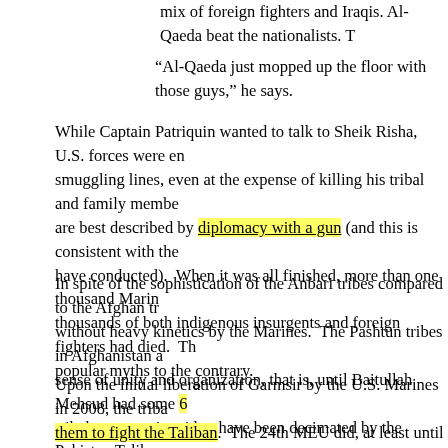mix of foreign fighters and Iraqis. Al-Qaeda beat the nationalists. T
“Al-Qaeda just mopped up the floor with those guys,” he says.
While Captain Patriquin wanted to talk to Sheik Risha, U.S. forces were en smuggling lines, even at the expense of killing his tribal and family membe are best described by diplomacy with a gun (and this is consistent with the have conducted). When it was all finished, more than one thousand Marin thousands of both indigenous insurgents and foreign fighters had died. Th popular myths to the contrary.
In spite of the sophistication of the Anbari tribes compared to the Afghan tr without heavy kinetics by the Marines. The Pashtun tribes in Afghanistan a sense of unity and organization, that is, until Baitullah Mehsud had some 6 tribal structure is said to have been decimated by the Pakistan Taliban.
Upon the initial liberation of Garmsir by the U.S. Marines in 2008, the triba them to fight the Taliban. The 24th MEU did, at least until their deployme Garmsir, and no U.S. Marines followed up the 24th MEU into the Garmsir campaign). Thus did Operation Khanjar have to be launched in 2009 to do in 2008. Even now with U.S. Marines present in the Helmand Province, fe Marines against the Taliban is pervasive.